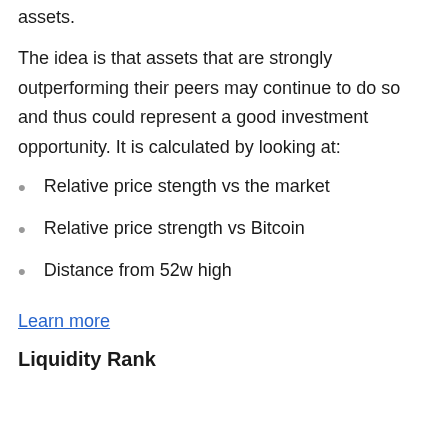assets.
The idea is that assets that are strongly outperforming their peers may continue to do so and thus could represent a good investment opportunity. It is calculated by looking at:
Relative price stength vs the market
Relative price strength vs Bitcoin
Distance from 52w high
Learn more
Liquidity Rank